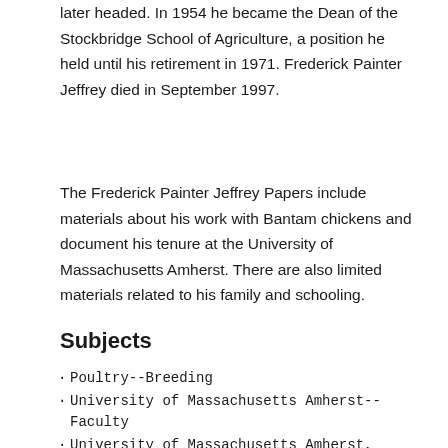later headed. In 1954 he became the Dean of the Stockbridge School of Agriculture, a position he held until his retirement in 1971. Frederick Painter Jeffrey died in September 1997.
The Frederick Painter Jeffrey Papers include materials about his work with Bantam chickens and document his tenure at the University of Massachusetts Amherst. There are also limited materials related to his family and schooling.
Subjects
Poultry--Breeding
University of Massachusetts Amherst--Faculty
University of Massachusetts Amherst,